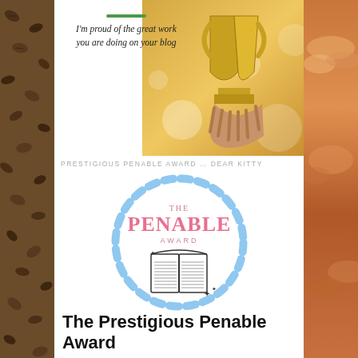[Figure (photo): Left background strip with coffee/dark beans texture]
[Figure (photo): Right background strip with orange/sunset sky and clouds]
[Figure (photo): Top right area showing hands holding a golden trophy award with bokeh background]
I'm proud of the great work you are doing on your blog
PRESTIGIOUS PENABLE AWARD … DEAR KITTY
[Figure (logo): The Penable Award logo: circular dashed blue rope border containing text 'THE PENABLE AWARD' in salmon/pink with an open book illustration and sparkle stars]
The Prestigious Penable Award